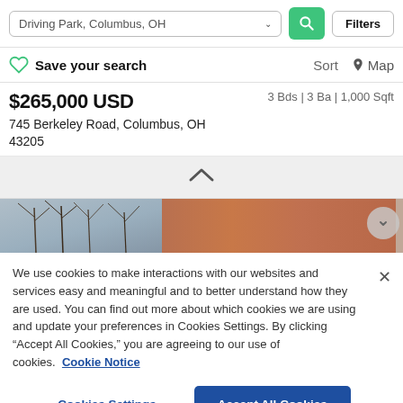Driving Park, Columbus, OH | Filters
Save your search   Sort   Map
$265,000 USD   3 Bds | 3 Ba | 1,000 Sqft
745 Berkeley Road, Columbus, OH 43205
[Figure (screenshot): Collapse/chevron up button row (gray background)]
[Figure (photo): Partial photo of a brick residential building with bare trees and blue sky visible]
We use cookies to make interactions with our websites and services easy and meaningful and to better understand how they are used. You can find out more about which cookies we are using and update your preferences in Cookies Settings. By clicking "Accept All Cookies," you are agreeing to our use of cookies. Cookie Notice
Cookies Settings   Accept All Cookies